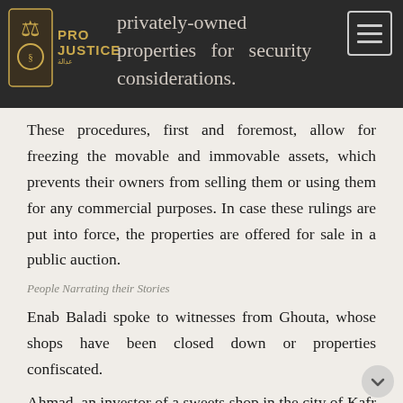privately-owned properties for security considerations.
These procedures, first and foremost, allow for freezing the movable and immovable assets, which prevents their owners from selling them or using them for any commercial purposes. In case these rulings are put into force, the properties are offered for sale in a public auction.
People Narrating their Stories
Enab Baladi spoke to witnesses from Ghouta, whose shops have been closed down or properties confiscated.
Ahmad, an investor of a sweets shop in the city of Kafr Batna, told Enab Baladi that one of the